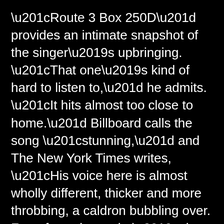“Route 3 Box 250D” provides an intimate snapshot of the singer’s upbringing. “That one’s kind of hard to listen to,” he admits. “It hits almost too close to home.” Billboard calls the song “stunning,” and The New York Times writes, “His voice here is almost wholly different, thicker and more throbbing, a caldron bubbling over. For a few minutes he’s the singer Nashville won’t let him be.”
As for the sound of How Country Feels, Houser says it’s his most expansive outing yet, with more bells and whistles than he’s used in the past; it also showcases the remarkable voice that led Vince Gill to call Houser “one of the best in the new crop of country singer-songwriters” and pal Jamey Johnson to say, “I wa... a blind man jump to his feet and drop his crutches the...
[Figure (other): reCAPTCHA logo overlay with 'Privacy - Terms' text, partially visible in the lower-right corner of the page]